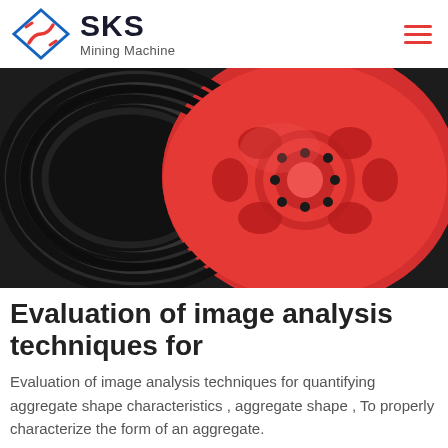[Figure (logo): SKS Mining Machine logo with diamond-shaped icon containing an S-curve, red and blue colors, brand name SKS in bold dark text and subtitle Mining Machine]
[Figure (photo): Close-up photograph of a large red industrial pulley/sheave with black V-belt grooves, mounted hub with bolts, industrial mining machinery component]
Evaluation of image analysis techniques for
Evaluation of image analysis techniques for quantifying aggregate shape characteristics , aggregate shape , To properly characterize the form of an aggregate.